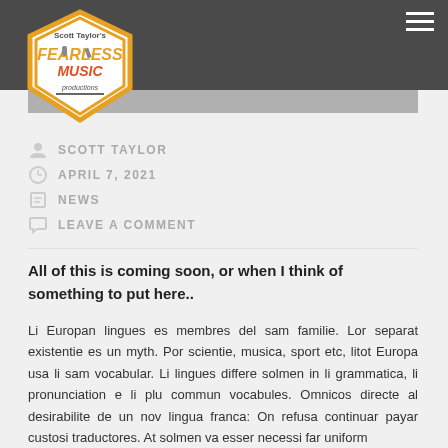Scott Taylor's Fearless Music Productions — 800 x 250
SCOTT TAYLOR
APRIL 7, 2021
NEWS
LEAVE A COMMENT
All of this is coming soon, or when I think of something to put here..
Li Europan lingues es membres del sam familie. Lor separat existentie es un myth. Por scientie, musica, sport etc, litot Europa usa li sam vocabular. Li lingues differe solmen in li grammatica, li pronunciation e li plu commun vocabules. Omnicos directe al desirabilite de un nov lingua franca: On refusa continuar payar custosi traductores. At solmen va esser necessi far uniform